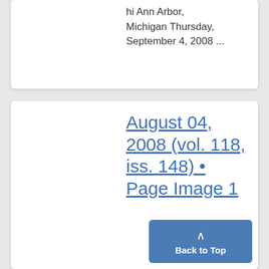hi Ann Arbor, Michigan Thursday, September 4, 2008 ...
August 04, 2008 (vol. 118, iss. 148) • Page Image 1
... Hieftje hopes for fifth term NEWS Big-budget films bring internships Thanks to a new tax incentive off the state...